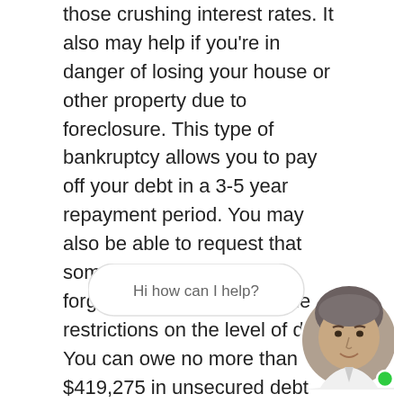those crushing interest rates. It also may help if you're in danger of losing your house or other property due to foreclosure. This type of bankruptcy allows you to pay off your debt in a 3-5 year repayment period. You may also be able to request that some of your debts be forgiven, but there are some restrictions on the level of debt. You can owe no more than $419,275 in unsecured debt (credit cards, etc.) and no more than $1,257,850 in secured debt (mortgages, etc.). This process isn't easy can take long time for debts to be discharged. No need to worry though as our Chapter 13 bankruptcy attorneys in Woodland hills are here to make this process easy and comfortable so that you can return to normal life as soon as possible.
[Figure (photo): Chat widget with 'Hi how can I help?' bubble and circular avatar photo of a middle-aged man with grey hair, with a green online indicator dot]